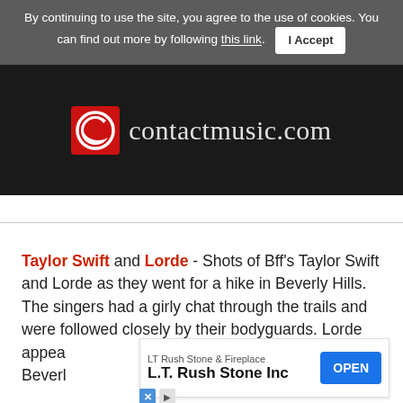By continuing to use the site, you agree to the use of cookies. You can find out more by following this link.  I Accept
[Figure (logo): contactmusic.com logo on dark background with red circular C icon]
Taylor Swift and Lorde - Shots of Bff's Taylor Swift and Lorde as they went for a hike in Beverly Hills. The singers had a girly chat through the trails and were followed closely by their bodyguards. Lorde appeared ... in Beverly ... y 13th Janua...
[Figure (screenshot): LT Rush Stone & Fireplace / L.T. Rush Stone Inc advertisement overlay with OPEN button]